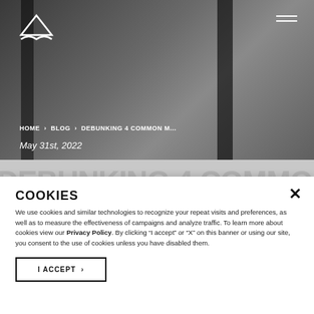[Figure (photo): Hero background photo of a person in a room with dark vertical divider columns, dimly lit interior scene]
HOME > BLOG > DEBUNKING 4 COMMON M...
May 31st, 2022
DEBUNKING 4 COMMON MYTHS ABOUT LIFTS
COOKIES
We use cookies and similar technologies to recognize your repeat visits and preferences, as well as to measure the effectiveness of campaigns and analyze traffic. To learn more about cookies view our Privacy Policy. By clicking “I accept” or “X” on this banner or using our site, you consent to the use of cookies unless you have disabled them.
I ACCEPT ›